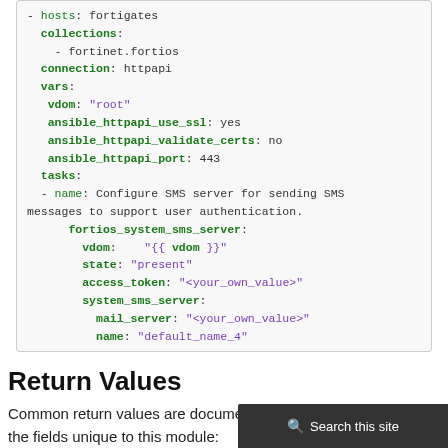- hosts: fortigates
  collections:
    - fortinet.fortios
  connection: httpapi
  vars:
   vdom: "root"
   ansible_httpapi_use_ssl: yes
   ansible_httpapi_validate_certs: no
   ansible_httpapi_port: 443
  tasks:
  - name: Configure SMS server for sending SMS messages to support user authentication.
      fortios_system_sms_server:
        vdom:    "{{ vdom }}"
        state: "present"
        access_token: "<your_own_value>"
        system_sms_server:
          mail_server: "<your_own_value>"
          name: "default_name_4"
Return Values
Common return values are documented here, the following are the fields unique to this module: